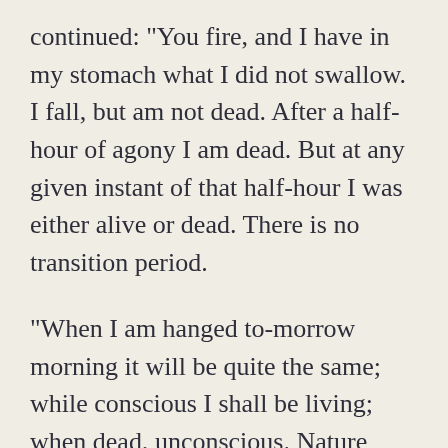continued: "You fire, and I have in my stomach what I did not swallow. I fall, but am not dead. After a half-hour of agony I am dead. But at any given instant of that half-hour I was either alive or dead. There is no transition period.
"When I am hanged to-morrow morning it will be quite the same; while conscious I shall be living; when dead, unconscious. Nature appears to have ordered the matter quite in my interest--the way that I should have ordered it myself. It is so simple," he added with a smile, "that it